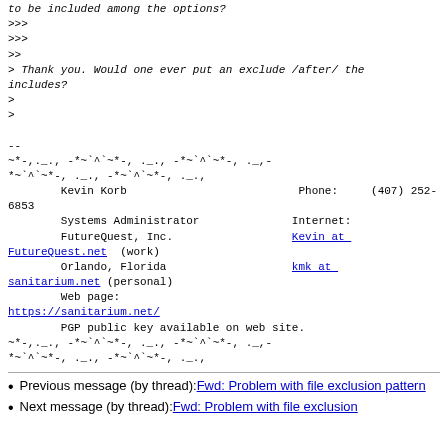to be included among the options?
>>>
>>>
>>
> Thank you. Would one ever put an exclude /after/ the includes?
>
>

--
~*-,._., -*~`^`~*-, ._., -*~`^`~*-, ._,-
*~`^`~*-, ._., -*~`^`~*-, ._.,
        Kevin Korb                          Phone:     (407) 252-6853
        Systems Administrator              Internet:
        FutureQuest, Inc.                  Kevin at FutureQuest.net (work)
        Orlando, Florida                   kmk at sanitarium.net (personal)
        Web page:
https://sanitarium.net/
        PGP public key available on web site.
~*-,._., -*~`^`~*-, ._., -*~`^`~*-, ._,-
*~`^`~*-, ._., -*~`^`~*-, ._.,
Previous message (by thread): Fwd: Problem with file exclusion pattern
Next message (by thread): Fwd: Problem with file exclusion